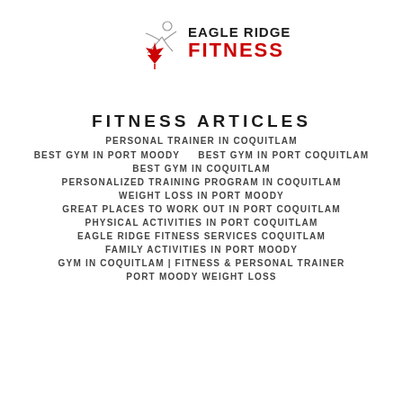[Figure (logo): Eagle Ridge Fitness logo with stylized figure and maple leaf, black and red text reading EAGLE RIDGE FITNESS]
FITNESS ARTICLES
PERSONAL TRAINER IN COQUITLAM
BEST GYM IN PORT MOODY     BEST GYM IN PORT COQUITLAM
BEST GYM IN COQUITLAM
PERSONALIZED TRAINING PROGRAM IN COQUITLAM
WEIGHT LOSS IN PORT MOODY
GREAT PLACES TO WORK OUT IN PORT COQUITLAM
PHYSICAL ACTIVITIES IN PORT COQUITLAM
EAGLE RIDGE FITNESS SERVICES COQUITLAM
FAMILY ACTIVITIES IN PORT MOODY
GYM IN COQUITLAM | FITNESS & PERSONAL TRAINER
PORT MOODY WEIGHT LOSS